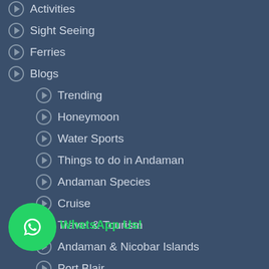Activities
Sight Seeing
Ferries
Blogs
Trending
Honeymoon
Water Sports
Things to do in Andaman
Andaman Species
Cruise
Travel & Tourism
Andaman & Nicobar Islands
Port Blair
Travel
Contact Us
Follow
WhatsApp Us!